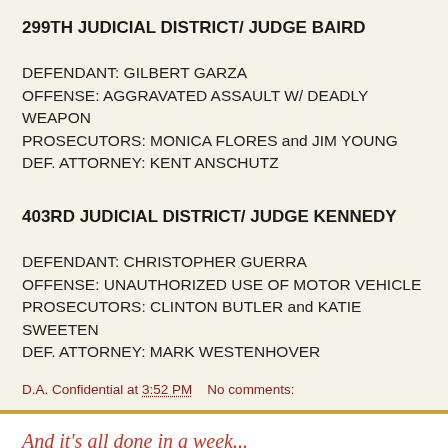299TH JUDICIAL DISTRICT/ JUDGE BAIRD
DEFENDANT: GILBERT GARZA
OFFENSE: AGGRAVATED ASSAULT W/ DEADLY WEAPON
PROSECUTORS: MONICA FLORES and JIM YOUNG
DEF. ATTORNEY: KENT ANSCHUTZ
403RD JUDICIAL DISTRICT/ JUDGE KENNEDY
DEFENDANT: CHRISTOPHER GUERRA
OFFENSE: UNAUTHORIZED USE OF MOTOR VEHICLE
PROSECUTORS: CLINTON BUTLER and KATIE SWEETEN
DEF. ATTORNEY: MARK WESTENHOVER
D.A. Confidential at 3:52 PM    No comments:
And it's all done in a week...